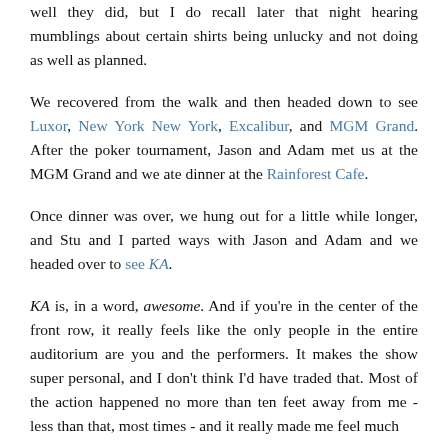well they did, but I do recall later that night hearing mumblings about certain shirts being unlucky and not doing as well as planned.
We recovered from the walk and then headed down to see Luxor, New York New York, Excalibur, and MGM Grand. After the poker tournament, Jason and Adam met us at the MGM Grand and we ate dinner at the Rainforest Cafe.
Once dinner was over, we hung out for a little while longer, and Stu and I parted ways with Jason and Adam and we headed over to see KA.
KA is, in a word, awesome. And if you're in the center of the front row, it really feels like the only people in the entire auditorium are you and the performers. It makes the show super personal, and I don't think I'd have traded that. Most of the action happened no more than ten feet away from me - less than that, most times - and it really made me feel much